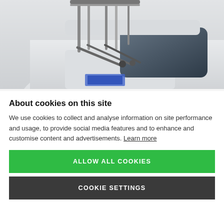[Figure (photo): Photo of a car with a rear-mounted bicycle rack carrying bikes, white car from behind/side angle]
About cookies on this site
We use cookies to collect and analyse information on site performance and usage, to provide social media features and to enhance and customise content and advertisements. Learn more
ALLOW ALL COOKIES
COOKIE SETTINGS